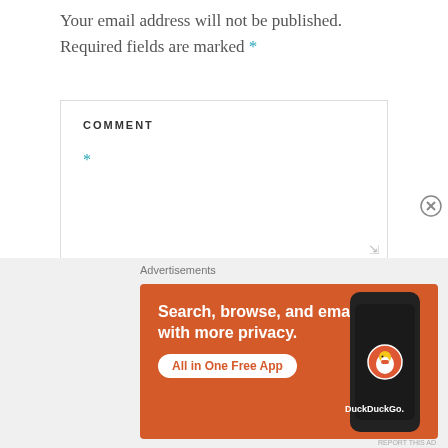Your email address will not be published. Required fields are marked *
[Figure (screenshot): Comment text area form field with label COMMENT and asterisk marker]
Advertisements
[Figure (screenshot): DuckDuckGo advertisement banner: Search, browse, and email with more privacy. All in One Free App. Shows a phone with DuckDuckGo logo.]